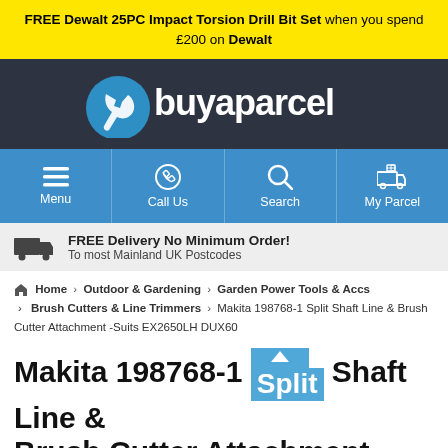FREE Dewalt 25PC Impact Torsion Drill Bit Set when you spend £200 on Dewalt
[Figure (logo): Buyaparcel logo on dark background with wrench icon]
[Figure (infographic): Navigation bar with Menu, Call Us, Search, My Parcel icons on blue background]
FREE Delivery No Minimum Order! To most Mainland UK Postcodes
Home > Outdoor & Gardening > Garden Power Tools & Accs > Brush Cutters & Line Trimmers > Makita 198768-1 Split Shaft Line & Brush Cutter Attachment -Suits EX2650LH DUX60
Makita 198768-1 Split Shaft Line & Brush Cutter Attachment -Suits